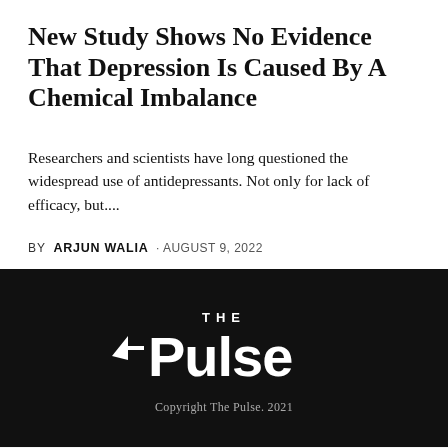New Study Shows No Evidence That Depression Is Caused By A Chemical Imbalance
Researchers and scientists have long questioned the widespread use of antidepressants. Not only for lack of efficacy, but....
BY ARJUN WALIA · AUGUST 9, 2022
[Figure (logo): The Pulse logo — white text on black background showing 'THE Pulse' with a stylized arrow/heartbeat symbol]
Copyright The Pulse. 2021
616 Share